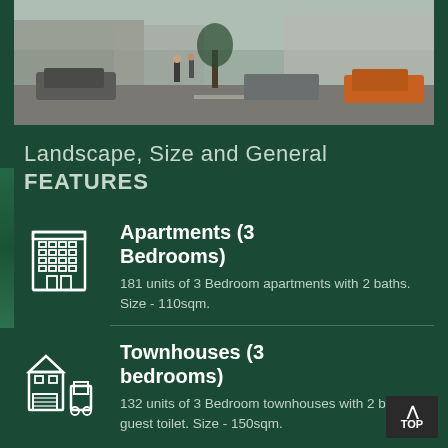[Figure (photo): Street-level photo of a residential development showing buildings, parked cars including an orange car on the right, and pedestrians on a road.]
Landscape, Size and General FEATURES
Apartments (3 Bedrooms)
181 units of 3 Bedroom apartments with 2 baths. Size - 110sqm.
Townhouses (3 bedrooms)
132 units of 3 Bedroom townhouses with 2 baths, 1 guest toilet. Size - 150sqm.
TOP